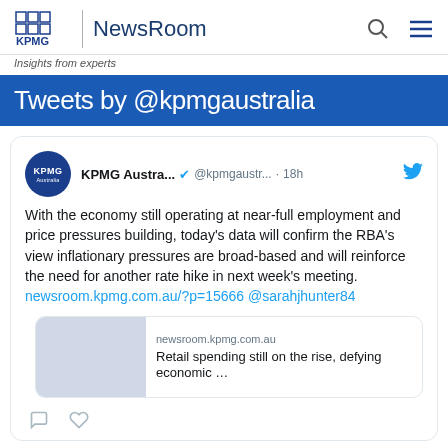[Figure (logo): KPMG NewsRoom logo with 'Insights from experts' tagline]
Tweets by @kpmgaustralia
KPMG Austra... @kpmgaustr... · 18h — With the economy still operating at near-full employment and price pressures building, today's data will confirm the RBA's view inflationary pressures are broad-based and will reinforce the need for another rate hike in next week's meeting. newsroom.kpmg.com.au/?p=15666 @sarahjhunter84
[Figure (screenshot): Link preview card: newsroom.kpmg.com.au — Retail spending still on the rise, defying economic ...]